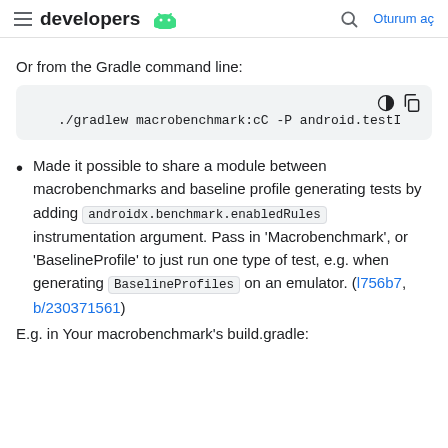developers  |  Oturum aç
Or from the Gradle command line:
[Figure (screenshot): Code block showing: ./gradlew macrobenchmark:cC -P android.testI]
Made it possible to share a module between macrobenchmarks and baseline profile generating tests by adding androidx.benchmark.enabledRules instrumentation argument. Pass in 'Macrobenchmark', or 'BaselineProfile' to just run one type of test, e.g. when generating BaselineProfiles on an emulator. (l756b7, b/230371561)
E.g. in Your macrobenchmark's build.gradle: